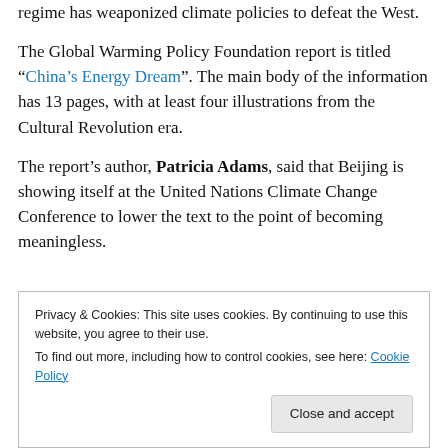regime has weaponized climate policies to defeat the West.
The Global Warming Policy Foundation report is titled “China’s Energy Dream”. The main body of the information has 13 pages, with at least four illustrations from the Cultural Revolution era.
The report’s author, Patricia Adams, said that Beijing is showing itself at the United Nations Climate Change Conference to lower the text to the point of becoming meaningless.
Privacy & Cookies: This site uses cookies. By continuing to use this website, you agree to their use.
To find out more, including how to control cookies, see here: Cookie Policy
Close and accept